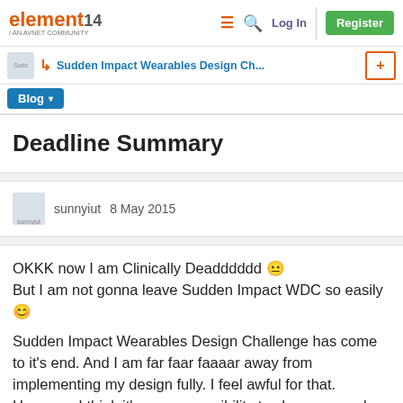element14 / AN AVNET COMMUNITY — Log In — Register
Sudden Impact Wearables Design Ch...
Blog
Deadline Summary
sunnyiut   8 May 2015
OKKK now I am Clinically Deadddddd 😐 But I am not gonna leave Sudden Impact WDC so easily 😊
Sudden Impact Wearables Design Challenge has come to it's end. And I am far faar faaaar away from implementing my design fully. I feel awful for that. However, I think it's my responsibility to share my work